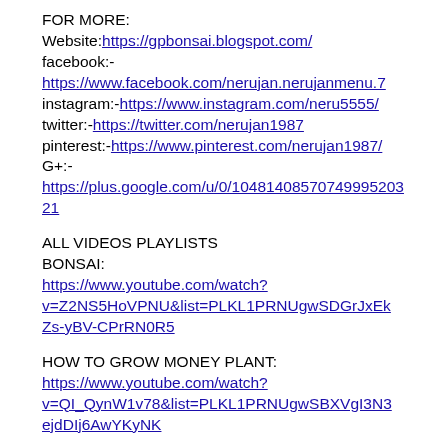FOR MORE:
Website: https://gpbonsai.blogspot.com/
facebook:-
https://www.facebook.com/nerujan.nerujanmenu.7
instagram:-https://www.instagram.com/neru5555/
twitter:-https://twitter.com/nerujan1987
pinterest:-https://www.pinterest.com/nerujan1987/
G+:-
https://plus.google.com/u/0/10481408570749952032 21
ALL VIDEOS PLAYLISTS
BONSAI:
https://www.youtube.com/watch?v=Z2NS5HoVPNU&list=PLKL1PRNUgwSDGrJxEkZs-yBV-CPrRN0R5
HOW TO GROW MONEY PLANT:
https://www.youtube.com/watch?v=QI_QynW1v78&list=PLKL1PRNUgwSBXVgI3N3ejdDIj6AwYKyNK
BOUGAINVILLEA BONSAI:
https://www.youtube.com/watch?